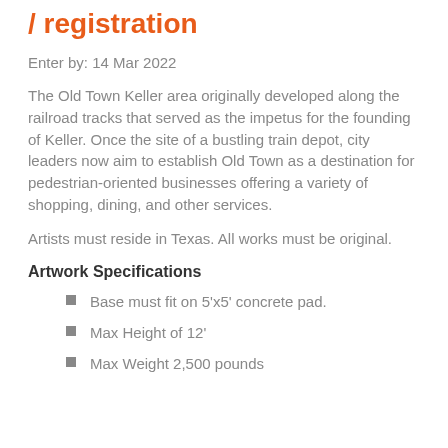/ registration
Enter by: 14 Mar 2022
The Old Town Keller area originally developed along the railroad tracks that served as the impetus for the founding of Keller. Once the site of a bustling train depot, city leaders now aim to establish Old Town as a destination for pedestrian-oriented businesses offering a variety of shopping, dining, and other services.
Artists must reside in Texas. All works must be original.
Artwork Specifications
Base must fit on 5'x5' concrete pad.
Max Height of 12'
Max Weight 2,500 pounds